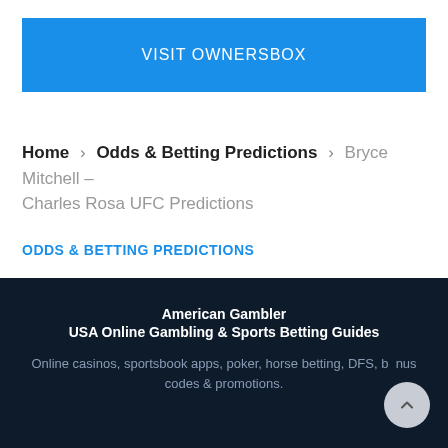[Figure (other): Blue button with text VISIT OWNERSBOX]
Home > Odds & Betting Predictions > Bryce Mitchell – Charles Rosa UFC Predictions
ODDS & BETTING PREDICTIONS
American Gambler
USA Online Gambling & Sports Betting Guides
Online casinos, sportsbook apps, poker, horse betting, DFS, bonus codes & promotions.